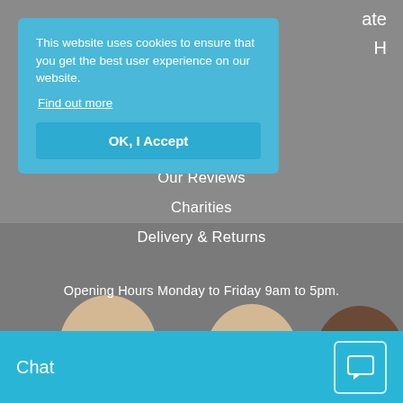ate
H
This website uses cookies to ensure that you get the best user experience on our website. Find out more
OK, I Accept
Useful Links
Our Reviews
Charities
Delivery & Returns
Opening Hours Monday to Friday 9am to 5pm.
[Figure (photo): Three babies' heads partially visible at the bottom of the page against a grey background]
Chat